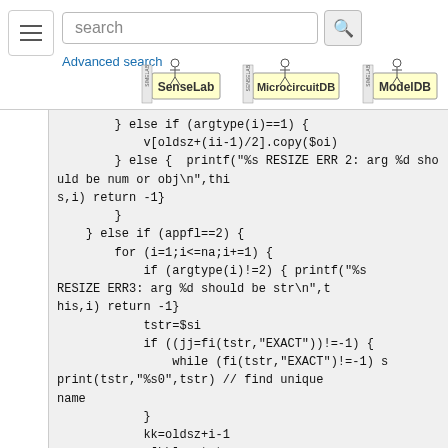[Figure (screenshot): Page header with hamburger menu, search box with search button, and Advanced search link]
[Figure (logo): SenseLab logo]
[Figure (logo): MicrocircuitDB logo]
[Figure (logo): ModelDB logo]
} else if (argtype(i)==1) {
    v[oldsz+(ii-1)/2].copy($oi)
} else {  printf("%s RESIZE ERR 2: arg %d should be num or obj\n",this,i) return -1}
    }
  } else if (appfl==2) {
    for (i=1;i<=na;i+=1) {
      if (argtype(i)!=2) { printf("%s RESIZE ERR3: arg %d should be str\n",this,i) return -1}
      tstr=$si
      if ((jj=fi(tstr,"EXACT"))!=-1) {
          while (fi(tstr,"EXACT")!=-1) sprint(tstr,"%s0",tstr) // find unique name
          }
          kk=oldsz+i-1
          s[kk].s=tstr